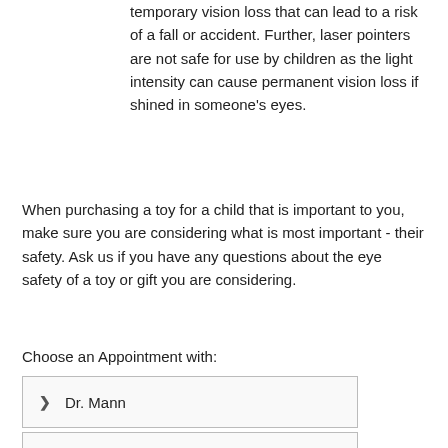temporary vision loss that can lead to a risk of a fall or accident. Further, laser pointers are not safe for use by children as the light intensity can cause permanent vision loss if shined in someone's eyes.
When purchasing a toy for a child that is important to you, make sure you are considering what is most important - their safety. Ask us if you have any questions about the eye safety of a toy or gift you are considering.
Choose an Appointment with:
Dr. Mann
Dr. Mitch...